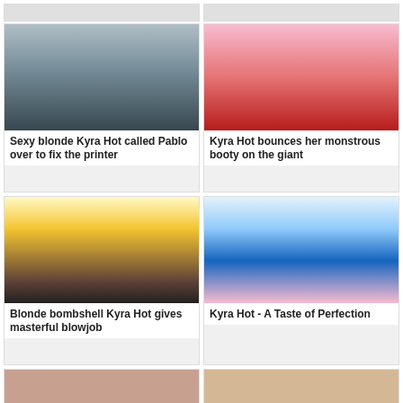[Figure (photo): Partial top of card - cut off at top of page, left column]
[Figure (photo): Partial top of card - cut off at top of page, right column]
[Figure (photo): Older man in suit at office printer]
Sexy blonde Kyra Hot called Pablo over to fix the printer
[Figure (photo): Close up explicit adult content]
Kyra Hot bounces her monstrous booty on the giant
[Figure (photo): Blonde woman adult content]
Blonde bombshell Kyra Hot gives masterful blowjob
[Figure (photo): Two women in shorts and bikini adult content]
Kyra Hot - A Taste of Perfection
[Figure (photo): Close up of woman's face, partial view]
[Figure (photo): Blonde woman smiling outdoors]